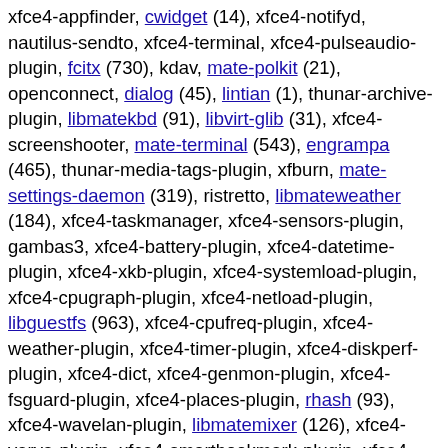xfce4-appfinder, cwidget (14), xfce4-notifyd, nautilus-sendto, xfce4-terminal, xfce4-pulseaudio-plugin, fcitx (730), kdav, mate-polkit (21), openconnect, dialog (45), lintian (1), thunar-archive-plugin, libmatekbd (91), libvirt-glib (31), xfce4-screenshooter, mate-terminal (543), engrampa (465), thunar-media-tags-plugin, xfburn, mate-settings-daemon (319), ristretto, libmateweather (184), xfce4-taskmanager, xfce4-sensors-plugin, gambas3, xfce4-battery-plugin, xfce4-datetime-plugin, xfce4-xkb-plugin, xfce4-systemload-plugin, xfce4-cpugraph-plugin, xfce4-netload-plugin, libguestfs (963), xfce4-cpufreq-plugin, xfce4-weather-plugin, xfce4-timer-plugin, xfce4-diskperf-plugin, xfce4-dict, xfce4-genmon-plugin, xfce4-fsguard-plugin, xfce4-places-plugin, rhash (93), xfce4-wavelan-plugin, libmatemixer (126), xfce4-verve-plugin, xfce4-smartbookmark-plugin, xfce4-mailwatch-plugin, mate-session-manager (132), mate-system-monitor (319), xfce4-whiskermenu-plugin (131), mate-notification-daemon (53), kaccounts-providers, lshw (304), recode (79), kaddressbook, mate-power-manager (411), mate-applets (160),